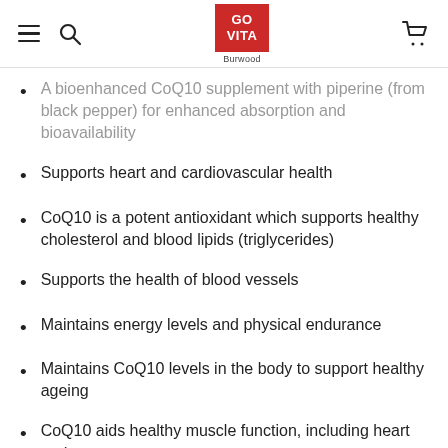GO VITA Burwood
A bioenhanced CoQ10 supplement with piperine (from black pepper) for enhanced absorption and bioavailability
Supports heart and cardiovascular health
CoQ10 is a potent antioxidant which supports healthy cholesterol and blood lipids (triglycerides)
Supports the health of blood vessels
Maintains energy levels and physical endurance
Maintains CoQ10 levels in the body to support healthy ageing
CoQ10 aids healthy muscle function, including heart and